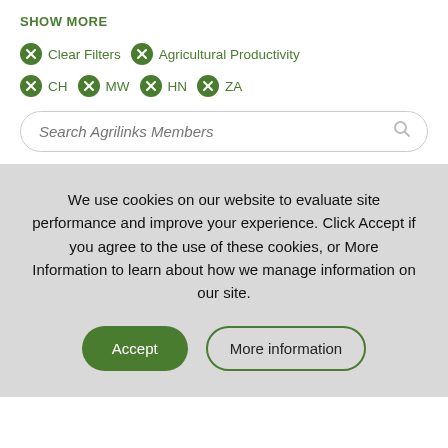SHOW MORE
Clear Filters
Agricultural Productivity
CH
MW
HN
ZA
Search Agrilinks Members
We use cookies on our website to evaluate site performance and improve your experience. Click Accept if you agree to the use of these cookies, or More Information to learn about how we manage information on our site.
Accept
More information